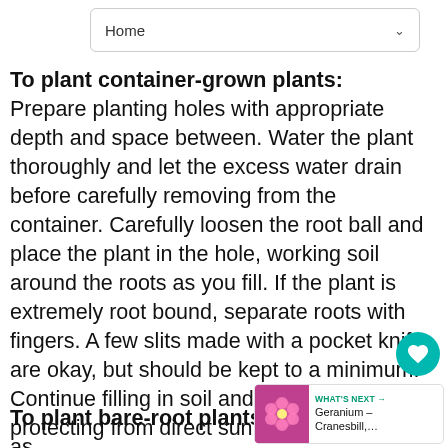Home
To plant container-grown plants: Prepare planting holes with appropriate depth and space between. Water the plant thoroughly and let the excess water drain before carefully removing from the container. Carefully loosen the root ball and place the plant in the hole, working soil around the roots as you fill. If the plant is extremely root bound, separate roots with fingers. A few slits made with a pocket knife are okay, but should be kept to a minimum. Continue filling in soil and water thoroughly, protecting from direct sun until stable.
To plant bare-root plants: Plant as soon as